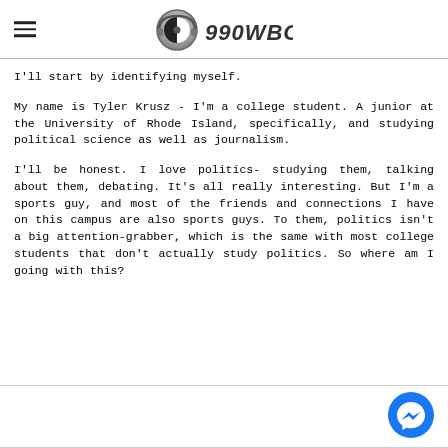990WBOB (radio station logo header)
I'll start by identifying myself.
My name is Tyler Krusz - I'm a college student. A junior at the University of Rhode Island, specifically, and studying political science as well as journalism.
I'll be honest. I love politics- studying them, talking about them, debating. It's all really interesting. But I'm a sports guy, and most of the friends and connections I have on this campus are also sports guys. To them, politics isn't a big attention-grabber, which is the same with most college students that don't actually study politics. So where am I going with this?